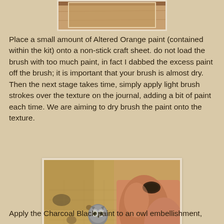[Figure (photo): Top portion of a photo showing a crafting surface, partially cropped at the top of the page]
Place a small amount of Altered Orange paint (contained within the kit) onto a non-stick craft sheet. do not load the brush with too much paint, in fact I dabbed the excess paint off the brush; it is important that your brush is almost dry. Then the next stage takes time, simply apply light brush strokes over the texture on the journal, adding a bit of paint each time. We are aiming to dry brush the paint onto the texture.
[Figure (photo): Photo of a small owl embellishment being held by a hand/finger on a craft journal surface with orange paint applied to the textured background]
Apply the Charcoal Black paint to an owl embellishment,